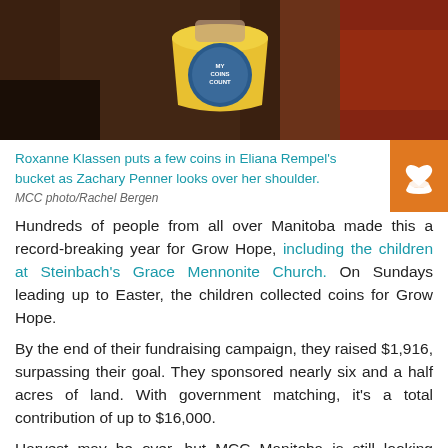[Figure (photo): Person holding a yellow 'My Coins Count' collection bucket against a dark indoor background]
Roxanne Klassen puts a few coins in Eliana Rempel's bucket as Zachary Penner looks over her shoulder.
MCC photo/Rachel Bergen
Hundreds of people from all over Manitoba made this a record-breaking year for Grow Hope, including the children at Steinbach's Grace Mennonite Church. On Sundays leading up to Easter, the children collected coins for Grow Hope.
By the end of their fundraising campaign, they raised $1,916, surpassing their goal. They sponsored nearly six and a half acres of land. With government matching, it's a total contribution of up to $16,000.
Harvest may be over, but MCC Manitoba is still looking ahead to Spring and planting season. To become a “farmer” next year—and Grow Hope together with Grant and Colleen Buck, Crystal Spring Hutterite Colony, and